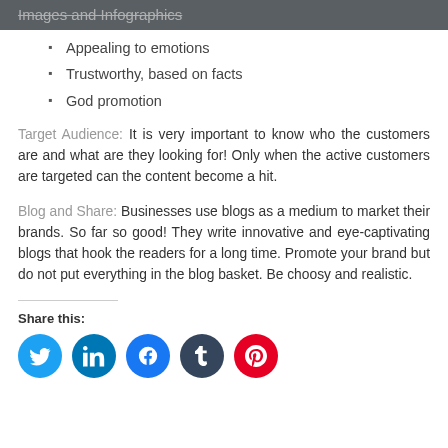Images and Infographics
Appealing to emotions
Trustworthy, based on facts
God promotion
Target Audience: It is very important to know who the customers are and what are they looking for! Only when the active customers are targeted can the content become a hit.
Blog and Share: Businesses use blogs as a medium to market their brands. So far so good! They write innovative and eye-captivating blogs that hook the readers for a long time. Promote your brand but do not put everything in the blog basket. Be choosy and realistic.
Share this: